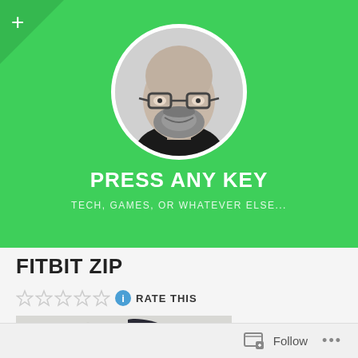[Figure (photo): Green header banner with profile photo of bald man with glasses and beard (black and white photo in circular frame), blog name 'PRESS ANY KEY' and subtitle 'TECH, GAMES, OR WHATEVER ELSE...']
FITBIT ZIP
[Figure (other): Five empty star rating icons followed by a blue info circle icon and 'RATE THIS' text]
[Figure (photo): Partial product photo showing a dark object against a light speckled background]
Follow ...